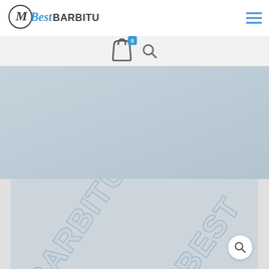[Figure (logo): BestBARBITURATES logo with circular M icon and stylized text]
[Figure (other): Hamburger/menu icon with three horizontal lines in blue]
[Figure (other): Shopping bag icon with blue badge showing 0, and a search magnifier icon]
[Figure (other): Light blue-grey hero banner area, empty]
[Figure (other): Product image section showing stylized BestBARBITURATES text at an angle, with a search/zoom icon button in the bottom right]